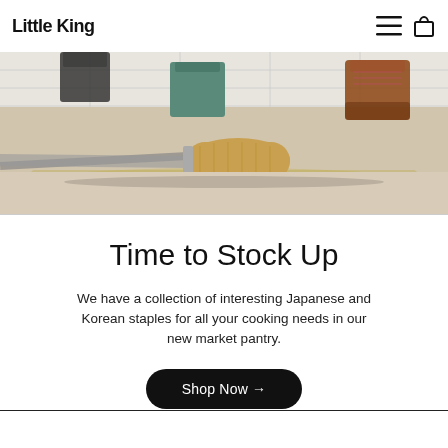Little King
[Figure (photo): Kitchen counter scene with a wooden-handled tool (oyster knife or similar), a silver tray, and amber/dark glass jars against a white tile backsplash and teal/green container in the background.]
Time to Stock Up
We have a collection of interesting Japanese and Korean staples for all your cooking needs in our new market pantry.
Shop Now →